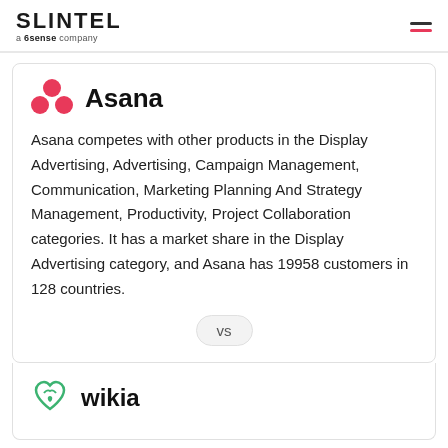SLINTEL a 6sense company
Asana
Asana competes with other products in the Display Advertising, Advertising, Campaign Management, Communication, Marketing Planning And Strategy Management, Productivity, Project Collaboration categories. It has a market share in the Display Advertising category, and Asana has 19958 customers in 128 countries.
vs
wikia